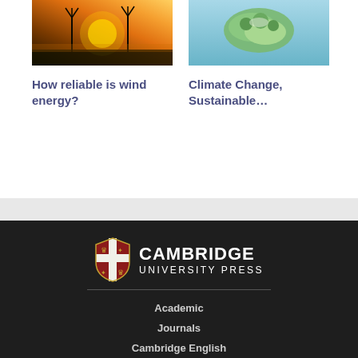[Figure (photo): Wind turbines at sunset with orange sky]
How reliable is wind energy?
[Figure (photo): Satellite or aerial view of green island/landmass on blue water]
Climate Change, Sustainable…
[Figure (logo): Cambridge University Press logo with shield and text]
Academic
Journals
Cambridge English